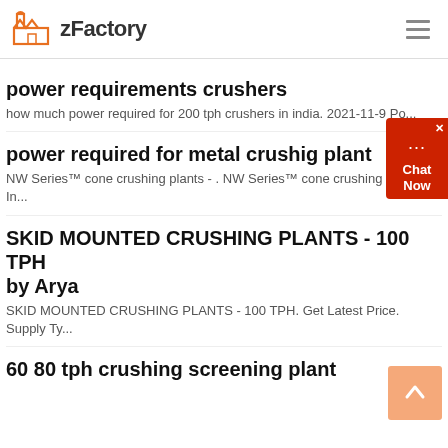zFactory
power requirements crushers
how much power required for 200 tph crushers in india. 2021-11-9 Po...
power required for metal crushig plant
NW Series™ cone crushing plants - . NW Series™ cone crushing plants. In...
SKID MOUNTED CRUSHING PLANTS - 100 TPH by Arya
SKID MOUNTED CRUSHING PLANTS - 100 TPH. Get Latest Price. Supply Ty...
60 80 tph crushing screening plant